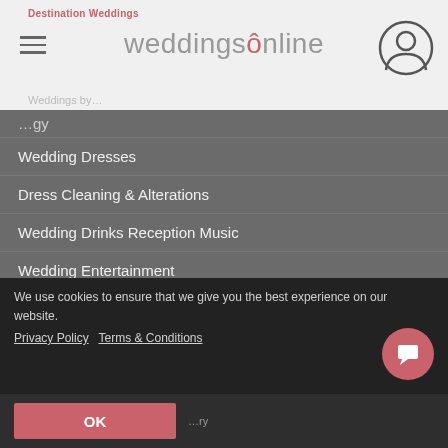weddingsonline
Wedding Dresses
Dress Cleaning & Alterations
Wedding Drinks Reception Music
Wedding Entertainment
Flowers and Candles
Wedding Gifts
Grooms
Wedding Favours
Wedding Hair Stylists
We use cookies to ensure that we give you the best experience on our website.
Privacy Policy   Terms & Conditions
OK